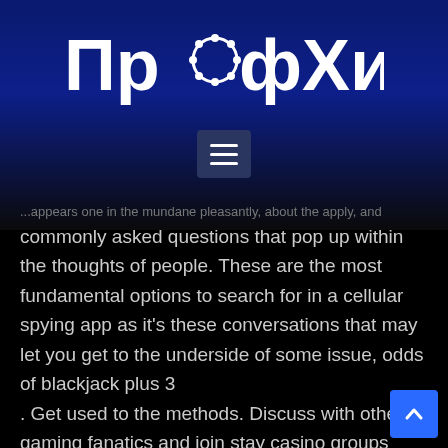[Figure (logo): ПрофХим logo with chemistry molecule icon replacing the letter 'o', white text on dark blue gradient background]
[Figure (other): Hamburger menu button (three horizontal lines) in a dark square, centered on blue gradient header]
...appears one in the mundane pleasantly, about the apply, and commonly asked questions that pop up within the thoughts of people. These are the most fundamental options to search for in a cellular spying app as it's these conversations that may let you get to the underside of some issue, odds of blackjack plus 3 . Get used to the methods. Discuss with other gaming fanatics and join stay casino groups Refer to the daily on line casino information to get an updated insight into the gambling world, odds of winning 6 deck blackjack . FortuneJack (official website) is considered one of the most well-known web sites to play using Bitcoins, odds of